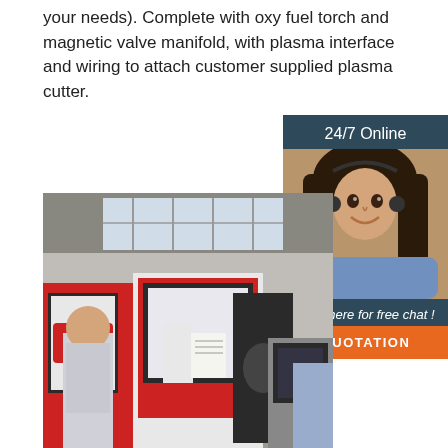your needs). Complete with oxy fuel torch and magnetic valve manifold, with plasma interface and wiring to attach customer supplied plasma cutter.
[Figure (other): Green 'Get Price' button]
[Figure (photo): Customer service representative wearing headset, with '24/7 Online' header, 'Click here for free chat!' text, and orange 'QUOTATION' button on dark blue background sidebar]
[Figure (photo): Factory floor photo showing industrial CNC cutting machines in red and white colors with workers operating them inside a large industrial building]